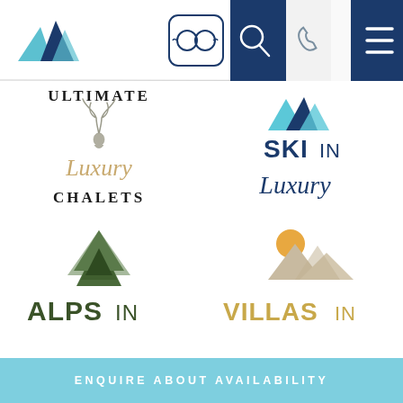[Figure (logo): Navigation bar with mountain logo (two blue triangles), ski goggle icon with rounded square border, dark navy search icon, phone icon, envelope icon, and hamburger menu on dark navy background]
[Figure (logo): Ultimate Luxury Chalets logo - text ULTIMATE and CHALETS in dark serif caps, cursive Luxury script in gold, antler illustration in grey]
[Figure (logo): Ski In Luxury logo - blue mountain triangles icon, SKI IN text in navy bold sans-serif, cursive Luxury script in navy]
[Figure (logo): Alps In logo - geometric green pine tree triangles icon, ALPS IN text in dark olive/green bold sans-serif]
[Figure (logo): Villas In logo - tan/beige mountain with orange sun icon, VILLAS IN text in gold/tan bold sans-serif]
ENQUIRE ABOUT AVAILABILITY